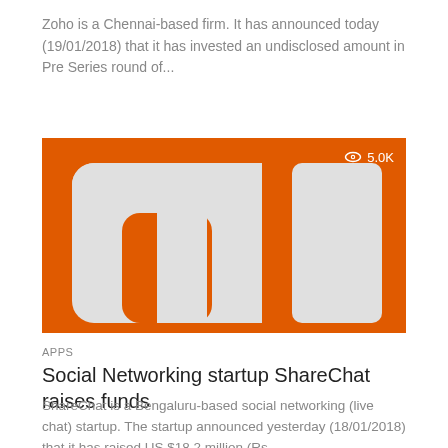Zoho is a Chennai-based firm. It has announced today (19/01/2018) that it has invested an undisclosed amount in Pre Series round of...
[Figure (logo): Xiaomi MI logo — orange/red background with large grey stylized MI letters. View count badge showing eye icon and 5.0K in top right corner.]
APPS
Social Networking startup ShareChat raises funds
ShareChat is a Bengaluru-based social networking (live chat) startup. The startup announced yesterday (18/01/2018) that it has raised US $18.2 million (Rs....